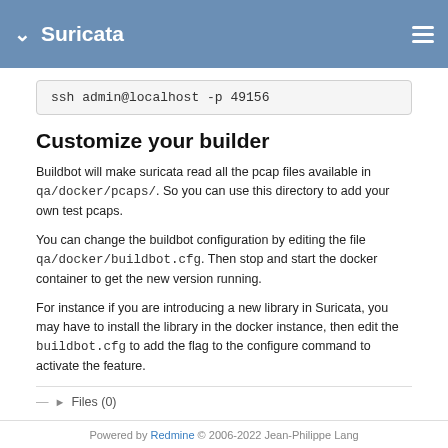Suricata
ssh admin@localhost -p 49156
Customize your builder
Buildbot will make suricata read all the pcap files available in qa/docker/pcaps/. So you can use this directory to add your own test pcaps.
You can change the buildbot configuration by editing the file qa/docker/buildbot.cfg. Then stop and start the docker container to get the new version running.
For instance if you are introducing a new library in Suricata, you may have to install the library in the docker instance, then edit the buildbot.cfg to add the flag to the configure command to activate the feature.
Files (0)
Powered by Redmine © 2006-2022 Jean-Philippe Lang